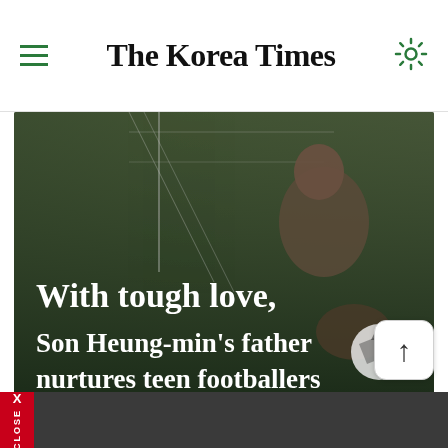The Korea Times
[Figure (photo): A shirtless male footballer crouching near a soccer goal net, holding a football, with trees in the background. Overlay text reads: 'With tough love, Son Heung-min's father nurtures teen footballers']
With tough love, Son Heung-min's father nurtures teen footballers
[Figure (other): Scroll-to-top button with upward arrow]
X CLOSE